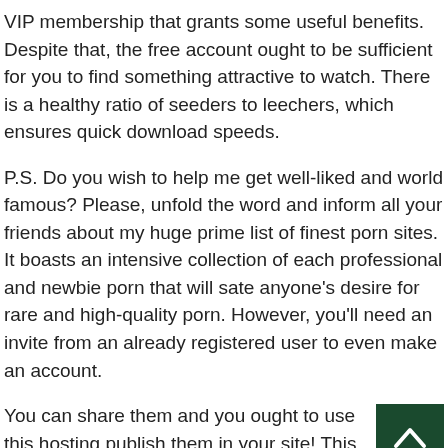VIP membership that grants some useful benefits. Despite that, the free account ought to be sufficient for you to find something attractive to watch. There is a healthy ratio of seeders to leechers, which ensures quick download speeds.
P.S. Do you wish to help me get well-liked and world famous? Please, unfold the word and inform all your friends about my huge prime list of finest porn sites. It boasts an intensive collection of each professional and newbie porn that will sate anyone's desire for rare and high-quality porn. However, you'll need an invite from an already registered user to even make an account.
You can share them and you ought to use this hosting publish them in your site! This porn website listing is moderated and up to date regularly, plus we're making our greatest to improve the selection day by day.